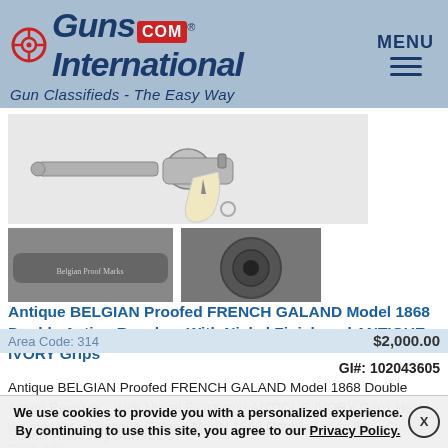GunsInternational.com — Gun Classifieds - The Easy Way
[Figure (photo): Three photos of an antique revolver: main image showing full gun with ivory grips (top), close-up of barrel inscription (bottom left), close-up of muzzle (bottom right)]
Antique BELGIAN Proofed FRENCH GALAND Model 1868 Double Action Revolver With Nickel Finish and ANTIQUE IVORY Grips
GI#: 102043605
Antique BELGIAN Proofed FRENCH GALAND Model 1868 Double Action Revolver    With Nickel Finish and ANTIQUE IVORY Grips Here we present an antique Galand Model 1868 Double Action Re ...Click for more info
Seller: AncestryGunsLLC
Area Code: 314
$2,000.00
We use cookies to provide you with a personalized experience. By continuing to use this site, you agree to our Privacy Policy.